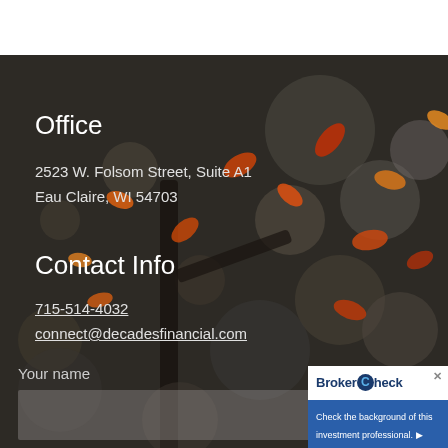[Figure (photo): Background photo of autumn leaves (red, orange, yellow) on branches against a dark bokeh background, with a white band at the top]
Office
2523 W. Folsom Street, Suite A1
Eau Claire, WI 54703
Contact Info
715-514-4032
connect@decadesfinancial.com
Your name
[Figure (logo): BrokerCheck by FINRA widget with text 'Check the background of this investment professional.']